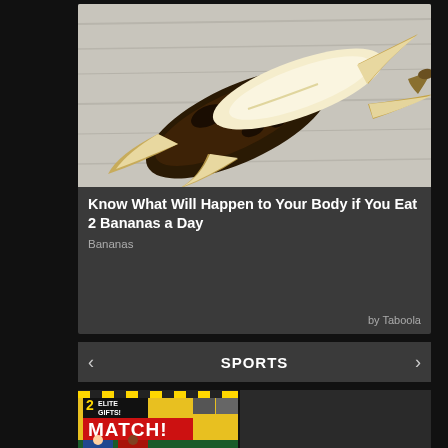[Figure (photo): A peeled overripe dark banana with the peel opened flat on a white wooden surface, photographed from above]
Know What Will Happen to Your Body if You Eat 2 Bananas a Day
Bananas
by Taboola
SPORTS
[Figure (photo): Match! magazine cover showing football players with text '2 ELITE GIFTS!']